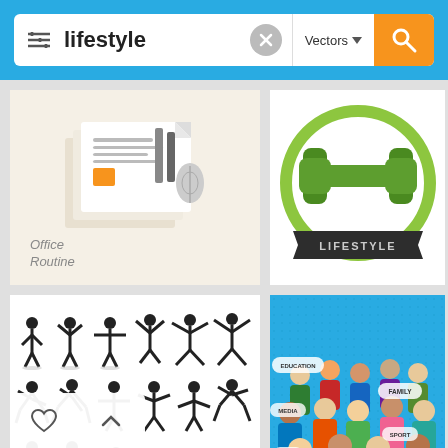[Figure (screenshot): Mobile app search bar with 'lifestyle' query, Vectors filter, and orange search button on blue background]
[Figure (illustration): Office Routine vector illustration with documents, pencils, and office supplies on beige background]
[Figure (illustration): Lifestyle fitness badge with green dumbbell and LIFESTYLE text ribbon]
[Figure (illustration): Grid of black stick figure pictograms in various exercise and yoga poses]
[Figure (illustration): Group of diverse people illustration on blue background with speech bubbles: EDUCATION, FAMILY, MEDIA, HOME, SPORT, LOVE]